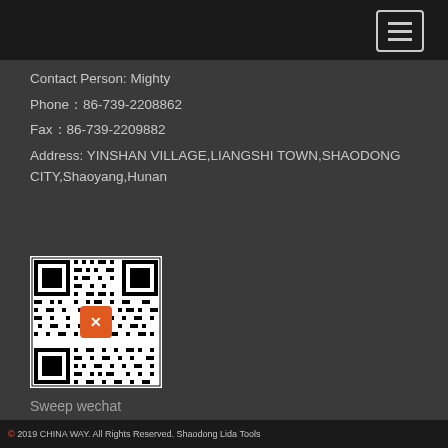Contact Person: Mighty
Phone：86-739-2208862
Fax：86-739-2209882
Address: YINSHAN VILLAGE,LIANGSHI TOWN,SHAODONG CITY,Shaoyang,Hunan
[Figure (other): QR code with orange logo in center]
Sweep wechat
© 2019 CHINA WAY. All Rights Reserved. Shaodong Lida Tools